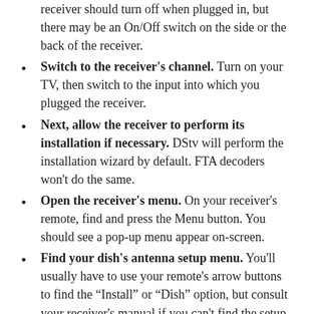receiver should turn off when plugged in, but there may be an On/Off switch on the side or the back of the receiver.
Switch to the receiver's channel. Turn on your TV, then switch to the input into which you plugged the receiver.
Next, allow the receiver to perform its installation if necessary. DStv will perform the installation wizard by default. FTA decoders won't do the same.
Open the receiver's menu. On your receiver's remote, find and press the Menu button. You should see a pop-up menu appear on-screen.
Find your dish's antenna setup menu. You'll usually have to use your remote's arrow buttons to find the “Install” or “Dish” option, but consult your receiver's manual if you can't find the setup section of the menu.